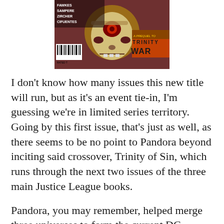[Figure (illustration): Comic book cover showing a skull-like alien/villain face with one large central eye, red accents, pink/red drapery background. Top-left credits: FAWKES, SAMPERE, ZIRCHER, CIFUENTES. Barcode visible lower-left. Right side shows orange/gold banner text 'A PREQUEL TO TRINITY WAR'. Rated T label at bottom-left.]
I don’t know how many issues this new title will run, but as it’s an event tie-in, I’m guessing we’re in limited series territory. Going by this first issue, that’s just as well, as there seems to be no point to Pandora beyond inciting said crossover, Trinity of Sin, which runs through the next two issues of the three main Justice League books.
Pandora, you may remember, helped merge three universes to form the current DC Universe in the Flashpoint event. She next appeared in the background of all the DC New 52 books’